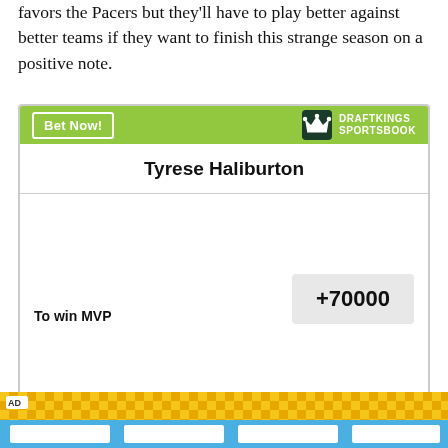favors the Pacers but they'll have to play better against better teams if they want to finish this strange season on a positive note.
|  |  |
| --- | --- |
| Tyrese Haliburton |  |
| To win MVP | +70000 |
Odds/Lines subject to change. See draftkings.com for details.
[Figure (other): AD banner with yellow checkerboard and blue stripe at bottom]